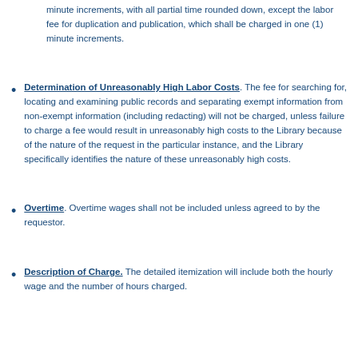minute increments, with all partial time rounded down, except the labor fee for duplication and publication, which shall be charged in one (1) minute increments.
Determination of Unreasonably High Labor Costs. The fee for searching for, locating and examining public records and separating exempt information from non-exempt information (including redacting) will not be charged, unless failure to charge a fee would result in unreasonably high costs to the Library because of the nature of the request in the particular instance, and the Library specifically identifies the nature of these unreasonably high costs.
Overtime. Overtime wages shall not be included unless agreed to by the requestor.
Description of Charge. The detailed itemization will include both the hourly wage and the number of hours charged.